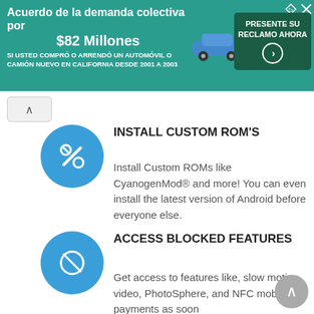[Figure (screenshot): Advertisement banner with teal background. Text in Spanish: 'Acuerdo de la demanda colectiva por $82 Millones. Si usted compró o arrendó un automóvil o camión nuevo en California desde 2001 a 2003'. Shows a blue car image and a dark green CTA button 'PRESENTE SU RECLAMO AHORA' with arrow.]
INSTALL CUSTOM ROM'S
Install Custom ROMs like CyanogenMod® and more! You can even install the latest version of Android before everyone else.
ACCESS BLOCKED FEATURES
Get access to features like, slow motion video, PhotoSphere, and NFC mobile payments as soon